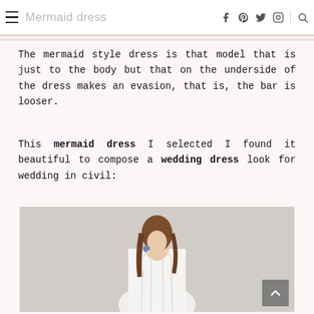Mermaid dress
The mermaid style dress is that model that is just to the body but that on the underside of the dress makes an evasion, that is, the bar is looser.
This mermaid dress I selected I found it beautiful to compose a wedding dress look for wedding in civil:
[Figure (photo): A woman wearing a white mermaid-style halter dress, with long brown hair, looking down, wearing dangling earrings, photographed against a light gray background.]